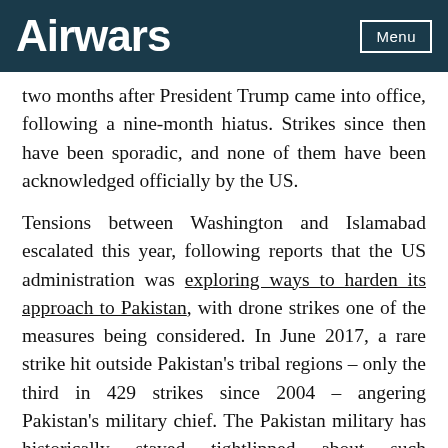Airwars | Menu
two months after President Trump came into office, following a nine-month hiatus. Strikes since then have been sporadic, and none of them have been acknowledged officially by the US.
Tensions between Washington and Islamabad escalated this year, following reports that the US administration was exploring ways to harden its approach to Pakistan, with drone strikes one of the measures being considered. In June 2017, a rare strike hit outside Pakistan’s tribal regions – only the third in 429 strikes since 2004 – angering Pakistan’s military chief. The Pakistan military has historically stayed tightlipped about such operations.